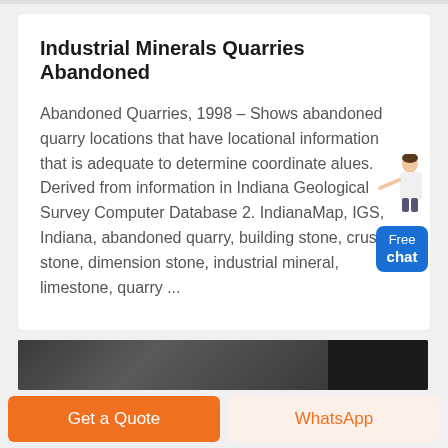Industrial Minerals Quarries Abandoned
Abandoned Quarries, 1998 - Shows abandoned quarry locations that have locational information that is adequate to determine coordinate alues. Derived from information in Indiana Geological Survey Computer Database 2. IndianaMap, IGS, Indiana, abandoned quarry, building stone, crushed stone, dimension stone, industrial mineral, limestone, quarry ...
[Figure (illustration): Chat widget with a person illustration and a blue Free chat button]
[Figure (photo): Dark grayscale image strip partially visible at the bottom of the page]